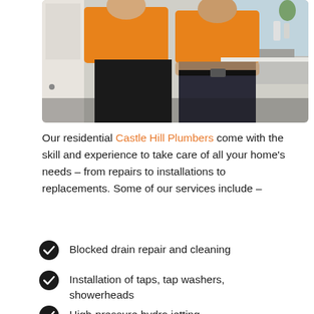[Figure (photo): Two men in orange shirts standing in a kitchen, arms crossed, posing as plumbers]
Our residential Castle Hill Plumbers come with the skill and experience to take care of all your home's needs – from repairs to installations to replacements. Some of our services include –
Blocked drain repair and cleaning
Installation of taps, tap washers, showerheads
High-pressure hydro jetting
Roof and gutters and more...